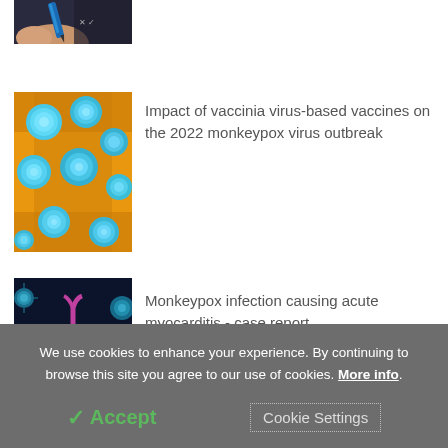[Figure (photo): Partial view of a hand holding a blue pen, dark background, cropped at top]
[Figure (photo): Microscopic image of monkeypox virus particles, blue/teal spheres on a yellow/orange background]
Impact of vaccinia virus-based vaccines on the 2022 monkeypox virus outbreak
[Figure (photo): 3D illustration of a pink heart surrounded by blue virus particles on a dark background]
Monkeypox infection causing acute myocarditis - case report
We use cookies to enhance your experience. By continuing to browse this site you agree to our use of cookies. More info.
✓ Accept
Cookie Settings